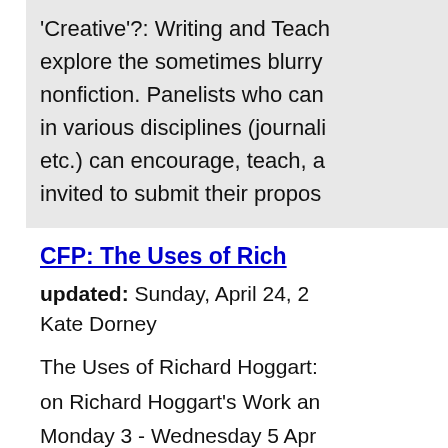'Creative'?: Writing and Teach explore the sometimes blurry nonfiction. Panelists who can in various disciplines (journali etc.) can encourage, teach, a invited to submit their propos
CFP: The Uses of Rich
updated: Sunday, April 24, 2
Kate Dorney
The Uses of Richard Hoggart: on Richard Hoggart's Work an Monday 3 - Wednesday 5 Apr Tapton Hall, University of Sheffield, UK Proposals for papers (20 min